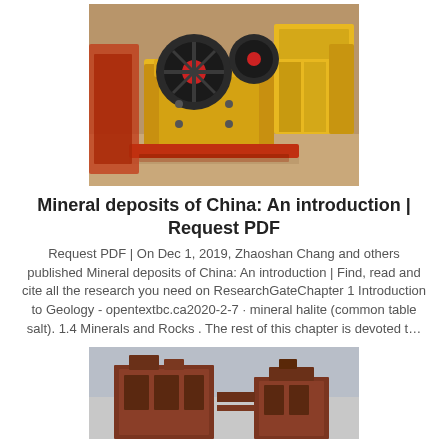[Figure (photo): Photo of a yellow jaw crusher / mining equipment in an industrial setting]
Mineral deposits of China: An introduction | Request PDF
Request PDF | On Dec 1, 2019, Zhaoshan Chang and others published Mineral deposits of China: An introduction | Find, read and cite all the research you need on ResearchGateChapter 1 Introduction to Geology - opentextbc.ca2020-2-7 · mineral halite (common table salt). 1.4 Minerals and Rocks . The rest of this chapter is devoted t…
[Figure (photo): Photo of large red industrial mining/processing plant structures against a cloudy sky]